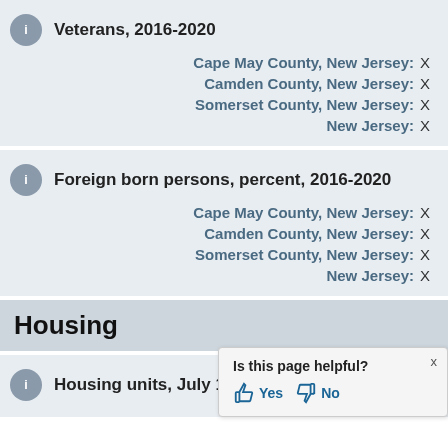Veterans, 2016-2020
Cape May County, New Jersey: X
Camden County, New Jersey: X
Somerset County, New Jersey: X
New Jersey: X
Foreign born persons, percent, 2016-2020
Cape May County, New Jersey: X
Camden County, New Jersey: X
Somerset County, New Jersey: X
New Jersey: X
Housing
Housing units, July 1, 2021, (V...
Is this page helpful? Yes No